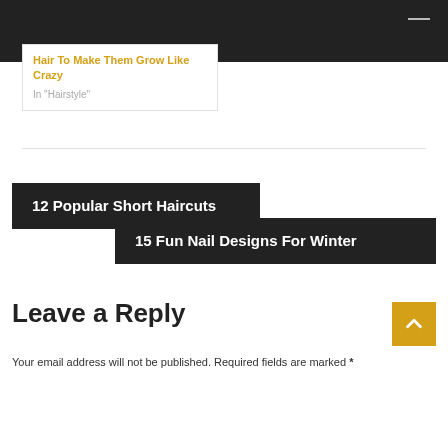[Figure (screenshot): Dark top navigation bar with menu icon on right]
Hair To Make Them Grow Like Crazy
In "Hairstyle"
12 Popular Short Haircuts
15 Fun Nail Designs For Winter
Leave a Reply
Your email address will not be published. Required fields are marked *